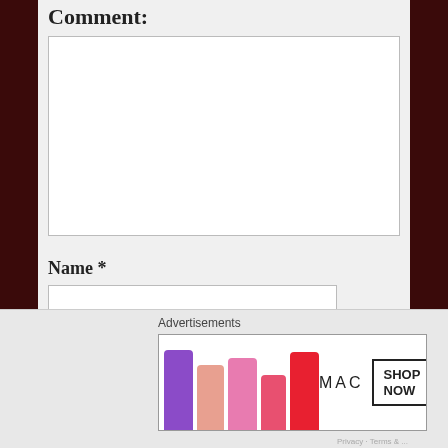Comment:
[Figure (screenshot): Empty comment textarea input field]
Name *
[Figure (screenshot): Name text input field (partially visible)]
Advertisements
[Figure (photo): MAC cosmetics advertisement banner showing lipsticks in purple, pink, coral, and red colors with MAC logo and SHOP NOW button]